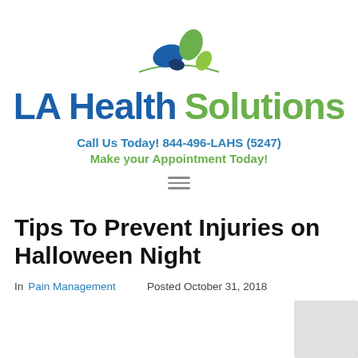[Figure (logo): LA Health Solutions logo with blue and green leaf/oval shapes above a green arc, followed by the text 'LA Health' in blue and 'Solutions' in green]
Call Us Today! 844-496-LAHS (5247)
Make your Appointment Today!
[Figure (other): Hamburger menu icon (three horizontal lines)]
Tips To Prevent Injuries on Halloween Night
In Pain Management   Posted October 31, 2018